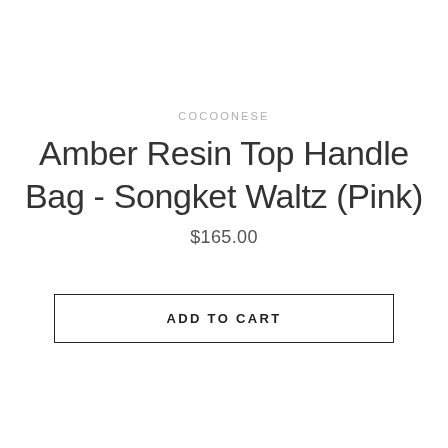COCOONESE
Amber Resin Top Handle Bag - Songket Waltz (Pink)
$165.00
ADD TO CART